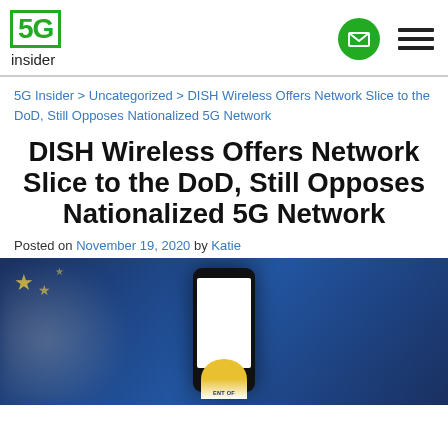5G insider
5G Insider > Uncategorized > DISH Wireless Offers Network Slice to the DoD, Still Opposes Nationalized 5G Network
DISH Wireless Offers Network Slice to the DoD, Still Opposes Nationalized 5G Network
Posted on November 19, 2020 by Katie
[Figure (photo): Blurred photo of a smartphone displaying a government seal, against a blue background with stars, held in someone's hands]